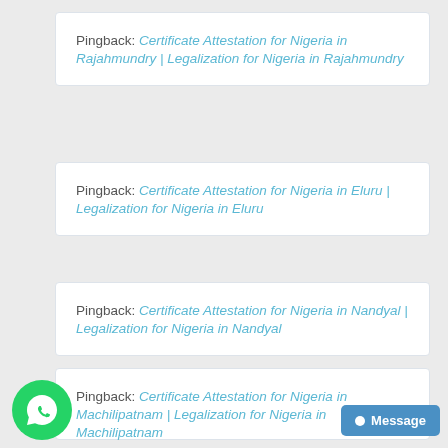Pingback: Certificate Attestation for Nigeria in Rajahmundry | Legalization for Nigeria in Rajahmundry
Pingback: Certificate Attestation for Nigeria in Eluru | Legalization for Nigeria in Eluru
Pingback: Certificate Attestation for Nigeria in Nandyal | Legalization for Nigeria in Nandyal
Pingback: Certificate Attestation for Nigeria in Machilipatnam | Legalization for Nigeria in Machilipatnam